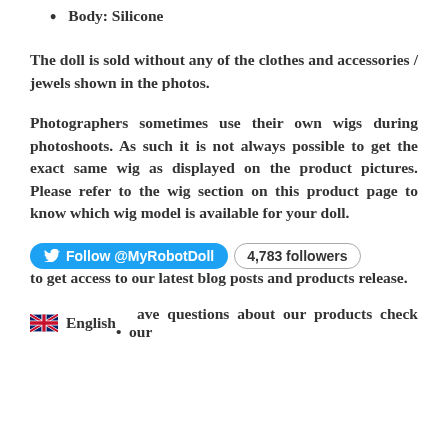Body: Silicone
The doll is sold without any of the clothes and accessories / jewels shown in the photos.
Photographers sometimes use their own wigs during photoshoots. As such it is not always possible to get the exact same wig as displayed on the product pictures. Please refer to the wig section on this product page to know which wig model is available for your doll.
Follow @MyRobotDoll  4,783 followers  to get access to our latest blog posts and products release.
English  • ave questions about our products check our